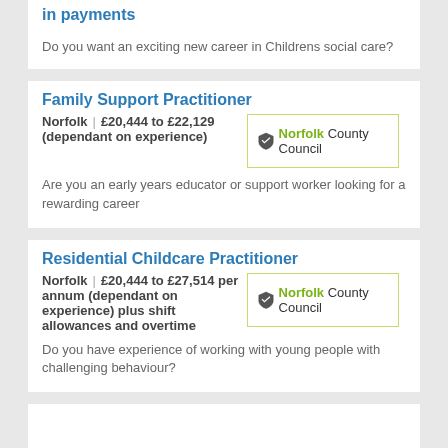in payments
Do you want an exciting new career in Childrens social care?
Family Support Practitioner
Norfolk  |  £20,444 to £22,129 (dependant on experience)
Are you an early years educator or support worker looking for a rewarding career
Residential Childcare Practitioner
Norfolk  |  £20,444 to £27,514 per annum (dependant on experience) plus shift allowances and overtime
Do you have experience of working with young people with challenging behaviour?